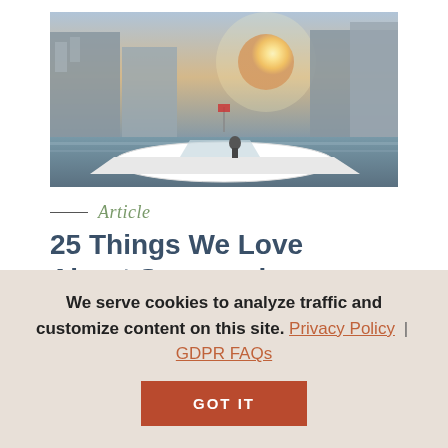[Figure (photo): A white speedboat on the water with buildings and a bright sunburst in the background]
Article
25 Things We Love About Summer in Branson
What's there to love about spending your summer moments in Branson?
We serve cookies to analyze traffic and customize content on this site. Privacy Policy | GDPR FAQs
GOT IT